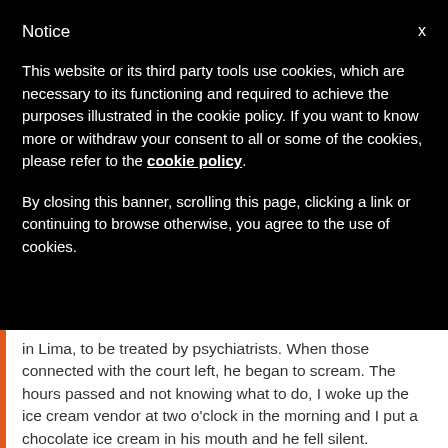Notice
This website or its third party tools use cookies, which are necessary to its functioning and required to achieve the purposes illustrated in the cookie policy. If you want to know more or withdraw your consent to all or some of the cookies, please refer to the cookie policy.
By closing this banner, scrolling this page, clicking a link or continuing to browse otherwise, you agree to the use of cookies.
in Lima, to be treated by psychiatrists. When those connected with the court left, he began to scream. The hours passed and not knowing what to do, I woke up the ice cream vendor at two o'clock in the morning and I put a chocolate ice cream in his mouth and he fell silent.